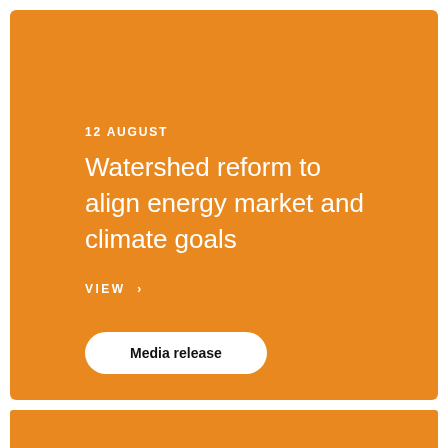12 AUGUST
Watershed reform to align energy market and climate goals
VIEW  >
Media release